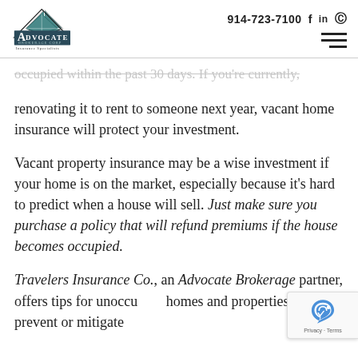914-723-7100 | Advocate Brokerage Corp Insurance Specialists
occupied within the past 30 days. If you're currently renovating it to rent to someone next year, vacant home insurance will protect your investment.
Vacant property insurance may be a wise investment if your home is on the market, especially because it's hard to predict when a house will sell. Just make sure you purchase a policy that will refund premiums if the house becomes occupied.
Travelers Insurance Co., an Advocate Brokerage partner, offers tips for unoccupied homes and properties to prevent or mitigate